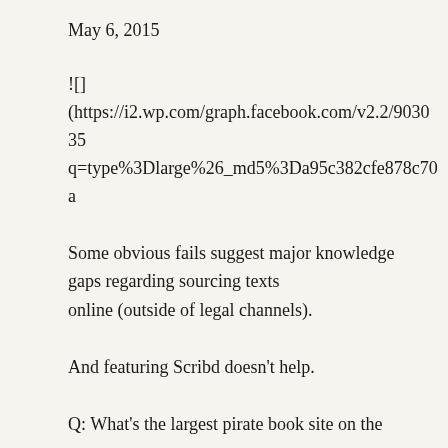May 6, 2015
![]
(https://i2.wp.com/graph.facebook.com/v2.2/903035
q=type%3Dlarge%26_md5%3Da95c382cfe878c70a
Some obvious fails suggest major knowledge gaps regarding sourcing texts online (outside of legal channels).
And featuring Scribd doesn't help.
Q: What's the largest pirate book site on the